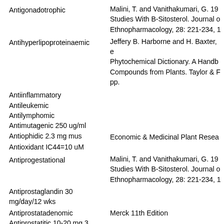Antigonadotrophic
Malini, T. and Vanithakumari, G. 19... Studies With B-Sitosterol. Journal o... Ethnopharmacology, 28: 221-234, 1...
Antihyperlipoproteinaemic
Jeffery B. Harborne and H. Baxter, e... Phytochemical Dictionary. A Handb... Compounds from Plants. Taylor & F... pp.
Antiinflammatory
Antileukemic
Antilymphomic
Antimutagenic 250 ug/ml
Antiophidic 2.3 mg mus
Economic & Medicinal Plant Resea...
Antioxidant IC44=10 uM
Antiprogestational
Malini, T. and Vanithakumari, G. 19... Studies With B-Sitosterol. Journal o... Ethnopharmacology, 28: 221-234, 1...
Antiprostaglandin 30 mg/day/12 wks
Antiprostatadenomic
Merck 11th Edition
Antiprostatitic 10-20 mg 3 x/day/orl man
Antipyretic
Neuwinger, H. D. 1996. African Eth... and Poison Plants. Chapman & Hall M...